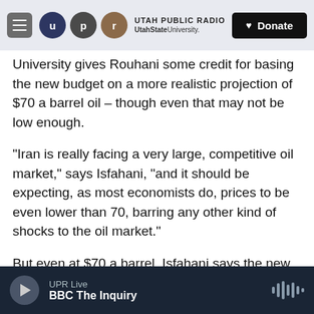UTAH PUBLIC RADIO | UtahState University | Donate
University gives Rouhani some credit for basing the new budget on a more realistic projection of $70 a barrel oil – though even that may not be low enough.
"Iran is really facing a very large, competitive oil market," says Isfahani, "and it should be expecting, as most economists do, prices to be even lower than 70, barring any other kind of shocks to the oil market."
But even at $70 a barrel, Isfahani says the new budget will likely have less money for development projects, traditionally a jump-starter for
UPR Live | BBC The Inquiry